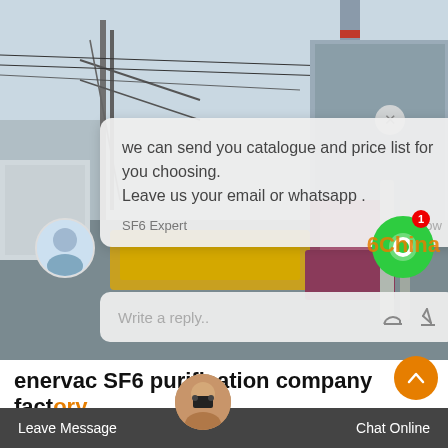[Figure (screenshot): Background photo of an industrial facility with cranes, power lines, and stacked materials]
we can send you catalogue and price list for you choosing.
Leave us your email or whatsapp .
SF6 Expert    just now
Write a reply..
enervac SF6 purification company factory
Due to the above reasons, SF6 is used mostly in applications that allow Leave Message opposed ng it on equ Chat Online requires release of the gas only to be refilled with a minimum cost
Leave Message    Chat Online